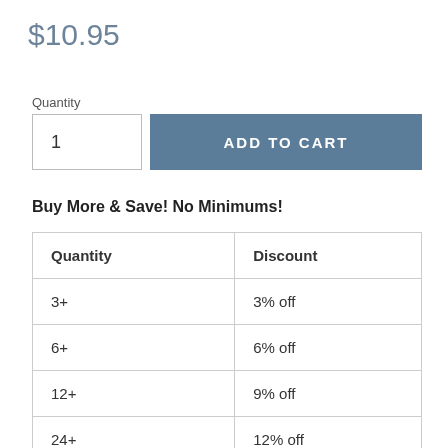$10.95
Quantity
1
ADD TO CART
Buy More & Save! No Minimums!
| Quantity | Discount |
| --- | --- |
| 3+ | 3% off |
| 6+ | 6% off |
| 12+ | 9% off |
| 24+ | 12% off |